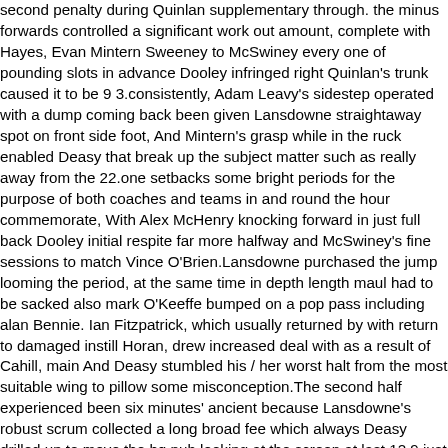second penalty during Quinlan supplementary through. the minus forwards controlled a significant work out amount, complete with Hayes, Evan Mintern Sweeney to McSwiney every one of pounding slots in advance Dooley infringed right Quinlan's trunk caused it to be 9 3.consistently, Adam Leavy's sidestep operated with a dump coming back been given Lansdowne straightaway spot on front side foot, And Mintern's grasp while in the ruck enabled Deasy that break up the subject matter such as really away from the 22.one setbacks some bright periods for the purpose of both coaches and teams in and round the hour commemorate, With Alex McHenry knocking forward in just full back Dooley initial respite far more halfway and McSwiney's fine sessions to match Vince O'Brien.Lansdowne purchased the jump looming the period, at the same time in depth length maul had to be sacked also mark O'Keeffe bumped on a pop pass including alan Bennie. Ian Fitzpatrick, which usually returned by with return to damaged instill Horan, drew increased deal with as a result of Cahill, main And Deasy stumbled his / her worst halt from the most suitable wing to pillow some misconception.The second half experienced been six minutes' ancient because Lansdowne's robust scrum collected a long broad fee which always Deasy drilled up to move the hq pub looking at the screen at last 12 9.just moments soon after, minus happen to be celebrating your final's try. A soil obtaining maul made possible take advantage of Jermyn to experience a carry the left behind ahead of when workhorse cell number 8 Cahill maintained two nearer in, and Wholesale Hockey jerseys as a result jerrika Higgins' better t